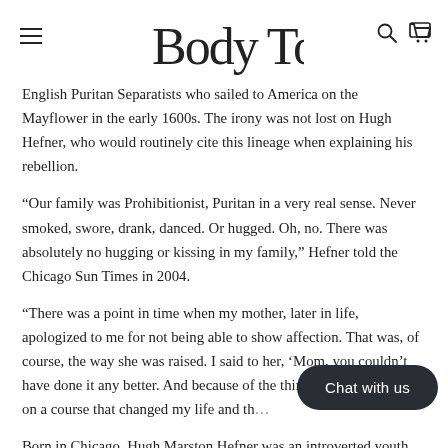Body Toy
English Puritan Separatists who sailed to America on the Mayflower in the early 1600s. The irony was not lost on Hugh Hefner, who would routinely cite this lineage when explaining his rebellion.
“Our family was Prohibitionist, Puritan in a very real sense. Never smoked, swore, drank, danced. Or hugged. Oh, no. There was absolutely no hugging or kissing in my family,” Hefner told the Chicago Sun Times in 2004.
“There was a point in time when my mother, later in life, apologized to me for not being able to show affection. That was, of course, the way she was raised. I said to her, ‘Mom, you couldn’t have done it any better. And because of the things you w[ere], set me on a course that changed my life and th[e world]
Born in Chicago, Hugh Marston Hefner was an introverted youth